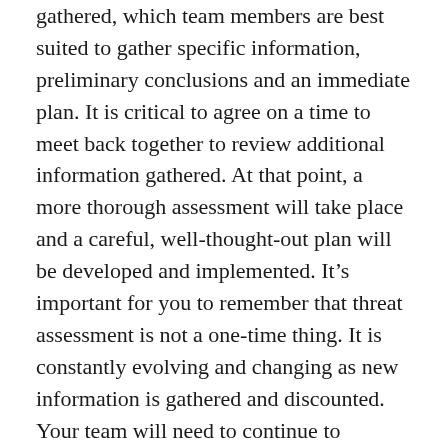gathered, which team members are best suited to gather specific information, preliminary conclusions and an immediate plan. It is critical to agree on a time to meet back together to review additional information gathered. At that point, a more thorough assessment will take place and a careful, well-thought-out plan will be developed and implemented. It’s important for you to remember that threat assessment is not a one-time thing. It is constantly evolving and changing as new information is gathered and discounted. Your team will need to continue to monitor and review the situation, making adjustments as needed.
The practice of violence threat assessment is